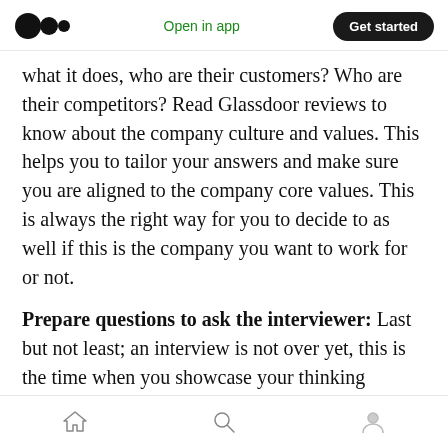Open in app | Get started
what it does, who are their customers? Who are their competitors? Read Glassdoor reviews to know about the company culture and values. This helps you to tailor your answers and make sure you are aligned to the company core values. This is always the right way for you to decide to as well if this is the company you want to work for or not.
Prepare questions to ask the interviewer: Last but not least; an interview is not over yet, this is the time when you showcase your thinking process, your motivation towards the role and
Home | Search | Profile